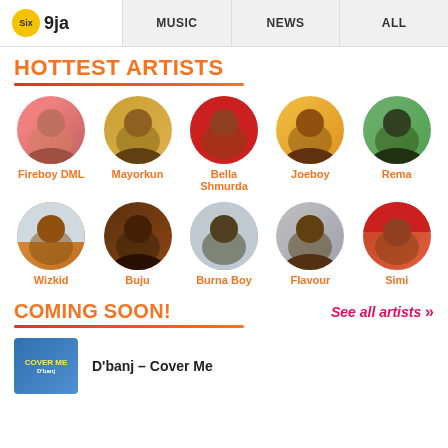Six 9ja | MUSIC | NEWS | ALL
HOTTEST ARTISTS
[Figure (illustration): Grid of 10 circular artist profile photos: Row 1: Fireboy DML, Mayorkun, Bella Shmurda, Joeboy, Rema. Row 2: Wizkid, Buju, Burna Boy, Flavour, Simi.]
Fireboy DML, Mayorkun, Bella Shmurda, Joeboy, Rema, Wizkid, Buju, Burna Boy, Flavour, Simi
COMING SOON!
See all artists »
D'banj – Cover Me